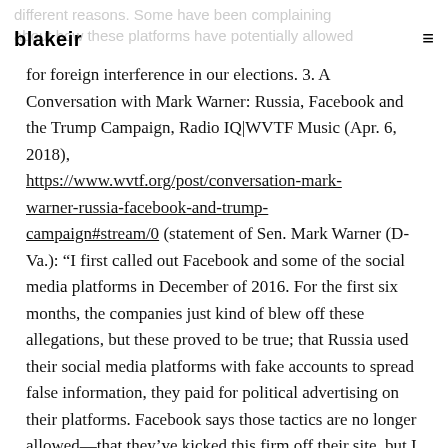blakeir
different reasons. Some have been complaining about how these platforms have potentially allowed for foreign interference in our elections. 3. A Conversation with Mark Warner: Russia, Facebook and the Trump Campaign, Radio IQ|WVTF Music (Apr. 6, 2018), https://www.wvtf.org/post/conversation-mark-warner-russia-facebook-and-trump-campaign#stream/0 (statement of Sen. Mark Warner (D-Va.): “I first called out Facebook and some of the social media platforms in December of 2016. For the first six months, the companies just kind of blew off these allegations, but these proved to be true; that Russia used their social media platforms with fake accounts to spread false information, they paid for political advertising on their platforms. Facebook says those tactics are no longer allowed—that they’ve kicked this firm off their site, but I think they’ve got a lot of explaining